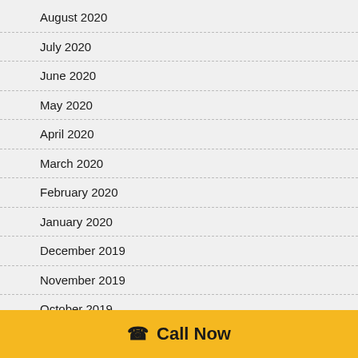August 2020
July 2020
June 2020
May 2020
April 2020
March 2020
February 2020
January 2020
December 2019
November 2019
October 2019
September 2019
August 2019
Call Now